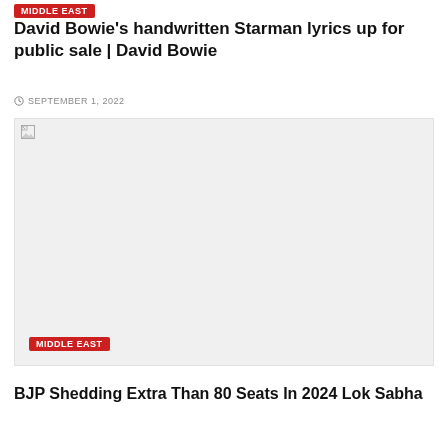MIDDLE EAST
David Bowie's handwritten Starman lyrics up for public sale | David Bowie
SEPTEMBER 1, 2022
[Figure (photo): Large placeholder image area with a broken image icon in the top-left corner and a light gray background]
MIDDLE EAST
BJP Shedding Extra Than 80 Seats In 2024 Lok Sabha